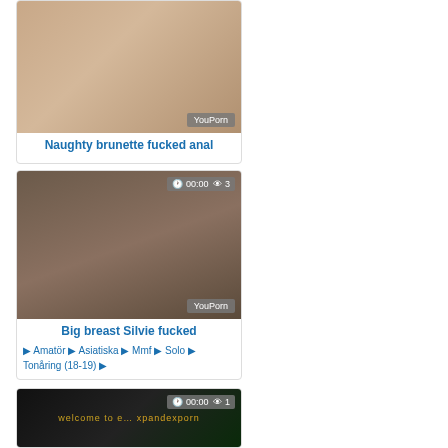[Figure (screenshot): Video thumbnail for 'Naughty brunette fucked anal' with YouPorn watermark]
Naughty brunette fucked anal
[Figure (screenshot): Video thumbnail showing '00:00' duration and '3' views, with YouPorn watermark]
Big breast Silvie fucked
🏷 Amatör 🏷 Asiatiska 🏷 Mmf 🏷 Solo 🏷 Tonåring (18-19) 🏷
[Figure (screenshot): Video thumbnail showing '00:00' duration and '1' view, for expandexporn]